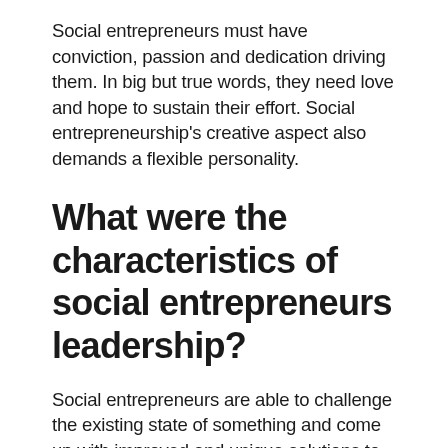Social entrepreneurs must have conviction, passion and dedication driving them. In big but true words, they need love and hope to sustain their effort. Social entrepreneurship's creative aspect also demands a flexible personality.
What were the characteristics of social entrepreneurs leadership?
Social entrepreneurs are able to challenge the existing state of something and come up with improved and unique solutions to tackle social or environmental issues. Also, they are easily able to ignore all environmental constraints, and do not tie themselves up to